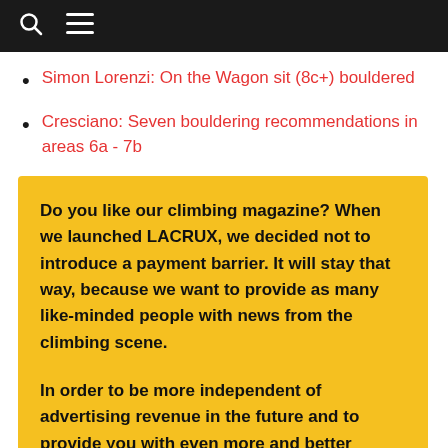Simon Lorenzi: On the Wagon sit (8c+) bouldered
Cresciano: Seven bouldering recommendations in areas 6a - 7b
Do you like our climbing magazine? When we launched LACRUX, we decided not to introduce a payment barrier. It will stay that way, because we want to provide as many like-minded people with news from the climbing scene.

In order to be more independent of advertising revenue in the future and to provide you with even more and better content, we need your support.